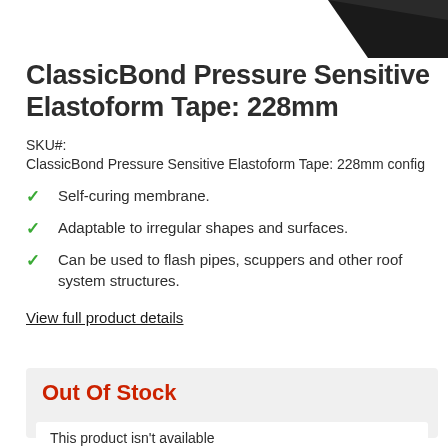[Figure (photo): Partial view of black tape roll in upper right corner]
ClassicBond Pressure Sensitive Elastoform Tape: 228mm
SKU#:
ClassicBond Pressure Sensitive Elastoform Tape: 228mm config
Self-curing membrane.
Adaptable to irregular shapes and surfaces.
Can be used to flash pipes, scuppers and other roof system structures.
View full product details
Out Of Stock
This product isn't available